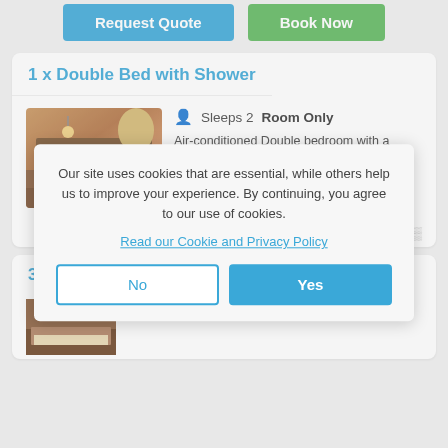[Figure (screenshot): Request Quote and Book Now buttons at top of page]
1 x Double Bed with Shower
[Figure (photo): Photo of double bed hotel room with warm wood tones, showing 1+ images badge]
Sleeps 2  Room Only
Air-conditioned Double bedroom with a Double bed and en-suite bathroom with Shower only. Bar fridge, tea/coffee station, desk and TV... More
£5(partial price cut off)
Our site uses cookies that are essential, while others help us to improve your experience. By continuing, you agree to our use of cookies.
Read our Cookie and Privacy Policy
No
Yes
3 x Single Beds with Shower
[Figure (photo): Partial photo of single beds hotel room at bottom]
Sleeps 2  Room Only